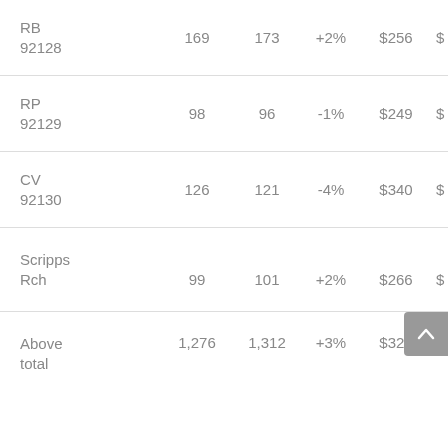| Area | Col1 | Col2 | Change | Price | Extra |
| --- | --- | --- | --- | --- | --- |
| RB 92128 | 169 | 173 | +2% | $256 | $ |
| RP 92129 | 98 | 96 | -1% | $249 | $ |
| CV 92130 | 126 | 121 | -4% | $340 | $ |
| Scripps Rch | 99 | 101 | +2% | $266 | $ |
| Above total | 1,276 | 1,312 | +3% | $329 | $ |